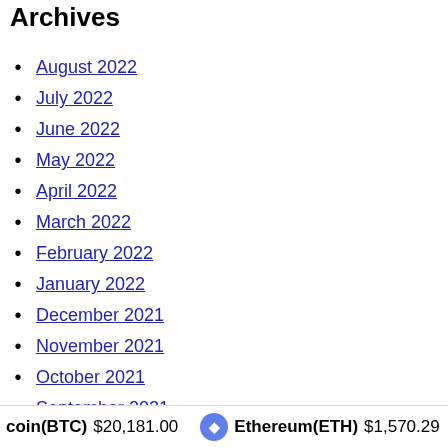Archives
August 2022
July 2022
June 2022
May 2022
April 2022
March 2022
February 2022
January 2022
December 2021
November 2021
October 2021
September 2021
August 2021
July 2021
June 2021
May 2021
April 2021
March 2021
February 2021
January 2021
December 2020
coin(BTC) $20,181.00   Ethereum(ETH) $1,570.29   XRP(XRP)